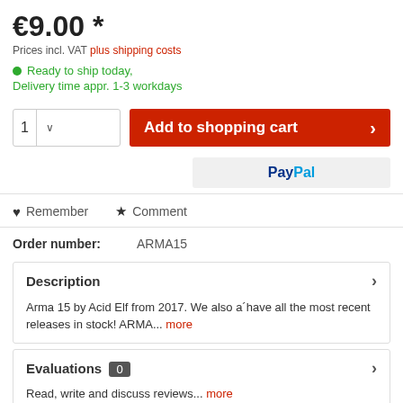€9.00 *
Prices incl. VAT plus shipping costs
Ready to ship today,
Delivery time appr. 1-3 workdays
Add to shopping cart
[Figure (other): PayPal payment button]
Remember   Comment
Order number: ARMA15
Description
Arma 15 by Acid Elf from 2017. We also a´have all the most recent releases in stock! ARMA... more
Evaluations 0
Read, write and discuss reviews... more